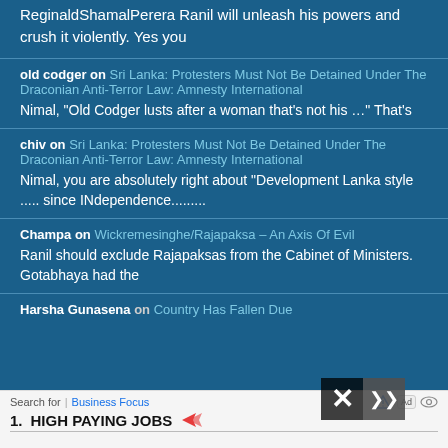ReginaldShamalPerera Ranil will unleash his powers and crush it violently. Yes you
old codger on Sri Lanka: Protesters Must Not Be Detained Under The Draconian Anti-Terror Law: Amnesty International
Nimal, "Old Codger lusts after a woman that’s not his …" That’s
chiv on Sri Lanka: Protesters Must Not Be Detained Under The Draconian Anti-Terror Law: Amnesty International
Nimal, you are absolutely right about "Development Lanka style ..... since INdependence.........
Champa on Wickremesinghe/Rajapaksa – An Axis Of Evil
Ranil should exclude Rajapaksas from the Cabinet of Ministers. Gotabhaya had the
Harsha Gunasena on Country Has Fallen Due
Search for | Business Focus
1.  HIGH PAYING JOBS